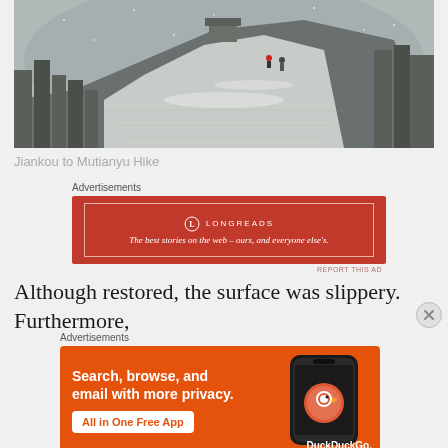[Figure (photo): Snow-covered Great Wall of China winding into the distance, with two hikers walking along the path. Stone walls and battlements visible on both sides, misty winter atmosphere.]
Jiankou to Mutianyu Hike
Advertisements
[Figure (other): Longreads advertisement: red banner with white border containing Longreads logo and tagline 'The best stories on the web – ours, and everyone else's.']
Although restored, the surface was slippery. Furthermore,
Advertisements
[Figure (other): DuckDuckGo advertisement: orange banner with text 'Search, browse, and email with more privacy.' and 'All in One Free App' button. Right side shows phone image with DuckDuckGo logo and name.]